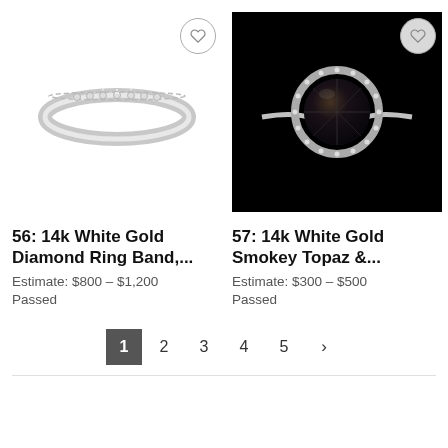[Figure (photo): 14k white gold diamond ring band photographed on white background]
[Figure (photo): 14k white gold smokey topaz ring with diamond halo photographed on black background]
56: 14k White Gold Diamond Ring Band,...
Estimate: $800 – $1,200
Passed
57: 14k White Gold Smokey Topaz &...
Estimate: $300 – $500
Passed
1  2  3  4  5  >